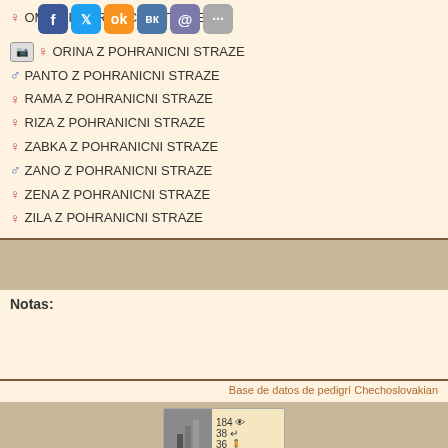♀ OMA Z POHRANICNI STRAZE
♀ ORINA Z POHRANICNI STRAZE
♂ PANTO Z POHRANICNI STRAZE
♀ RAMA Z POHRANICNI STRAZE
♀ RIZA Z POHRANICNI STRAZE
♀ ZABKA Z POHRANICNI STRAZE
♂ ZANO Z POHRANICNI STRAZE
♀ ZENA Z POHRANICNI STRAZE
♀ ZILA Z POHRANICNI STRAZE
Notas:
Base de datos de pedigrí Chechoslovakian
DF 2022 dogsfiles.com mail@dogsfiles.com